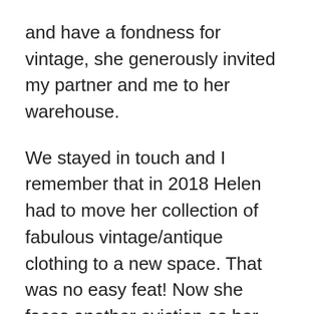and have a fondness for vintage, she generously invited my partner and me to her warehouse.
We stayed in touch and I remember that in 2018 Helen had to move her collection of fabulous vintage/antique clothing to a new space. That was no easy feat! Now she faces another eviction as her warehouse is getting knocked down for a residential high-rise. Still, she presses on.
Read more about Helen and how important she is to space for antique...